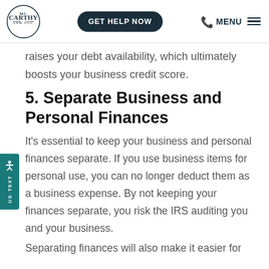McCarthy Law PLC | GET HELP NOW | MENU
raises your debt availability, which ultimately boosts your business credit score.
5. Separate Business and Personal Finances
It’s essential to keep your business and personal finances separate. If you use business items for personal use, you can no longer deduct them as a business expense. By not keeping your finances separate, you risk the IRS auditing you and your business.
Separating finances will also make it easier for